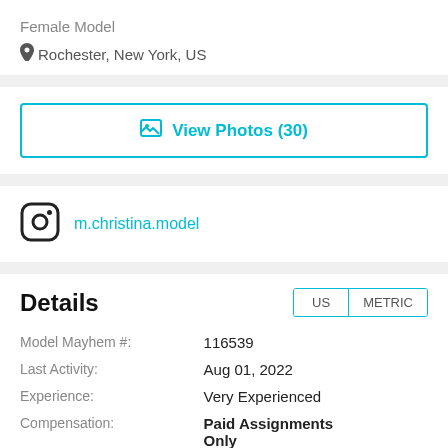Female Model
Rochester, New York, US
View Photos (30)
m.christina.model
Details
|  |  |
| --- | --- |
| Model Mayhem #: | 116539 |
| Last Activity: | Aug 01, 2022 |
| Experience: | Very Experienced |
| Compensation: | Paid Assignments Only |